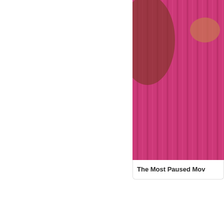[Figure (photo): Close-up photo of a person wearing a bright magenta/pink ribbed knit sweater, partial view showing torso and hands]
The Most Paused Mov...
[Figure (photo): Photo of a large crocodile or alligator on grass in what appears to be a zoo or wildlife park, with a crowd of spectators visible behind a fence in the background]